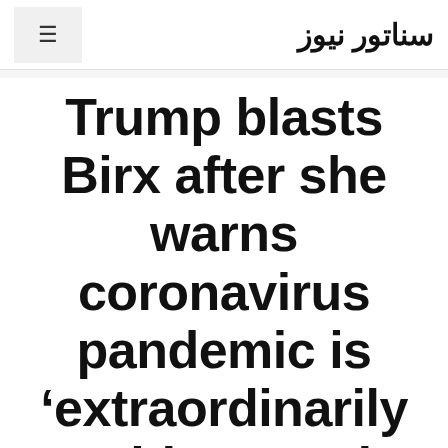≡  سناتور نیوز
Trump blasts Birx after she warns coronavirus pandemic is 'extraordinarily 'widespread